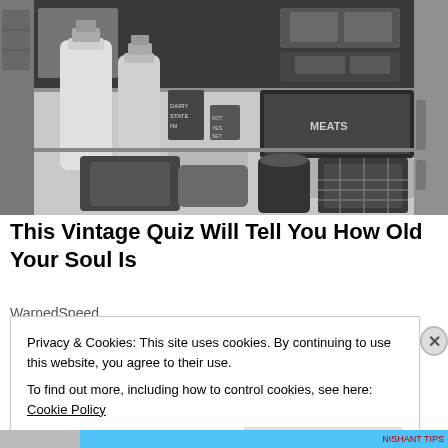[Figure (photo): Black and white photograph of an open vintage refrigerator interior showing milk bottles, food containers, a MEATS drawer, and various items on the shelves.]
This Vintage Quiz Will Tell You How Old Your Soul Is
WarnedSpeed
Privacy & Cookies: This site uses cookies. By continuing to use this website, you agree to their use.
To find out more, including how to control cookies, see here: Cookie Policy
Close and accept